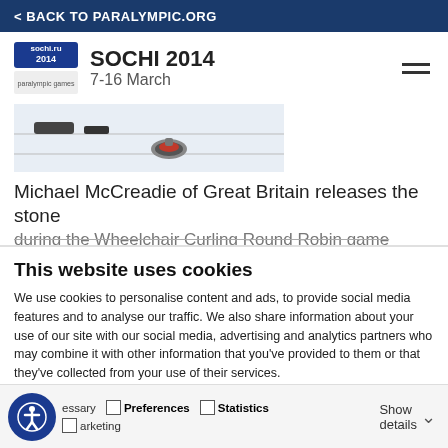< BACK TO PARALYMPIC.ORG
SOCHI 2014
7-16 March
[Figure (photo): Curling stone on ice during wheelchair curling event at Sochi 2014 Paralympics]
Michael McCreadie of Great Britain releases the stone during the Wheelchair Curling Round Robin game
This website uses cookies
We use cookies to personalise content and ads, to provide social media features and to analyse our traffic. We also share information about your use of our site with our social media, advertising and analytics partners who may combine it with other information that you've provided to them or that they've collected from your use of their services.
Allow all cookies
Allow selection
Use necessary cookies on
essary  Preferences  Statistics  Show details  Marketing